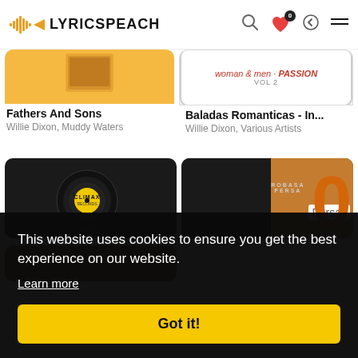LYRICSPEACH
[Figure (screenshot): Album cover for Fathers And Sons - golden/orange background with partial photo]
Fathers And Sons
Willie Dixon, Muddy Waters
[Figure (screenshot): Album cover for Baladas Romanticas - woman & men PASSION VOL 2]
Baladas Romanticas - In...
Willie Dixon, Various Artists
[Figure (screenshot): Album cover showing Climax vinyl record]
[Figure (screenshot): Album cover with orange and black design, PERSA label, large orange 0]
Persas
This website uses cookies to ensure you get the best experience on our website.
Learn more
Got it!